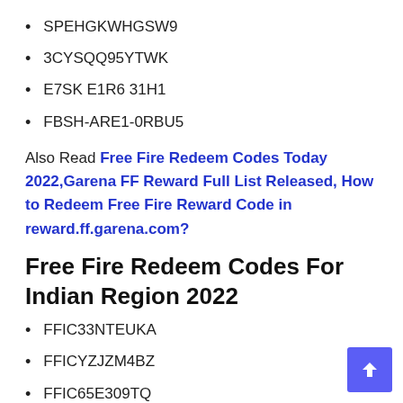SPEHGKWHGSW9
3CYSQQ95YTWK
E7SK E1R6 31H1
FBSH-ARE1-0RBU5
Also Read Free Fire Redeem Codes Today 2022,Garena FF Reward Full List Released, How to Redeem Free Fire Reward Code in reward.ff.garena.com?
Free Fire Redeem Codes For Indian Region 2022
FFIC33NTEUKA
FFICYZJZM4BZ
FFIC65E309TQ
FFICRF854MZT